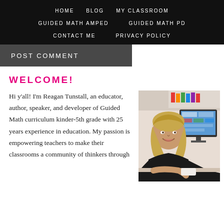HOME   BLOG   MY CLASSROOM   GUIDED MATH AMPED   GUIDED MATH PD   CONTACT ME   PRIVACY POLICY
POST COMMENT
WELCOME!
[Figure (photo): Photo of Reagan Tunstall, a woman with blonde hair wearing a black top, sitting at a desk in front of a computer monitor.]
Hi y'all! I'm Reagan Tunstall, an educator, author, speaker, and developer of Guided Math curriculum kinder-5th grade with 25 years experience in education. My passion is empowering teachers to make their classrooms a community of thinkers through